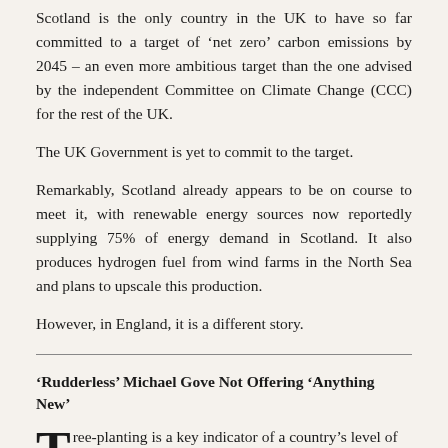Scotland is the only country in the UK to have so far committed to a target of ‘net zero’ carbon emissions by 2045 – an even more ambitious target than the one advised by the independent Committee on Climate Change (CCC) for the rest of the UK.
The UK Government is yet to commit to the target.
Remarkably, Scotland already appears to be on course to meet it, with renewable energy sources now reportedly supplying 75% of energy demand in Scotland. It also produces hydrogen fuel from wind farms in the North Sea and plans to upscale this production.
However, in England, it is a different story.
‘Rudderless’ Michael Gove Not Offering ‘Anything New’
Tree-planting is a key indicator of a country’s level of